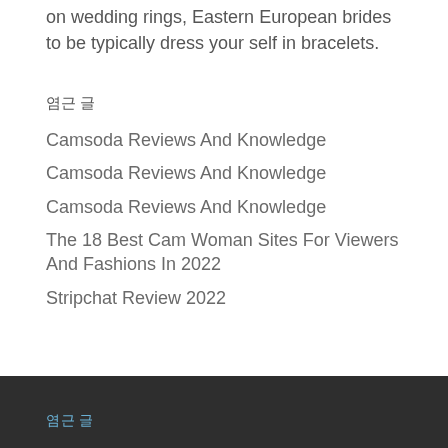on wedding rings, Eastern European brides to be typically dress your self in bracelets.
최근 글
Camsoda Reviews And Knowledge
Camsoda Reviews And Knowledge
Camsoda Reviews And Knowledge
The 18 Best Cam Woman Sites For Viewers And Fashions In 2022
Stripchat Review 2022
최근 글